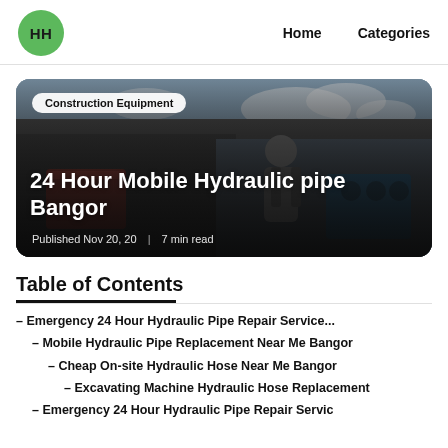HH | Home | Categories
[Figure (photo): A technician working in the back of a van loaded with hydraulic equipment, tools, red cases and blue machinery, with a cloudy sky visible. Badge overlay reads 'Construction Equipment'. Title overlay: '24 Hour Mobile Hydraulic pipe Bangor'. Meta: 'Published Nov 20, 20 | 7 min read'.]
Table of Contents
– Emergency 24 Hour Hydraulic Pipe Repair Service...
– Mobile Hydraulic Pipe Replacement Near Me Bangor
– Cheap On-site Hydraulic Hose Near Me Bangor
– Excavating Machine Hydraulic Hose Replacement
– Emergency 24 Hour Hydraulic Pipe Repair Servic